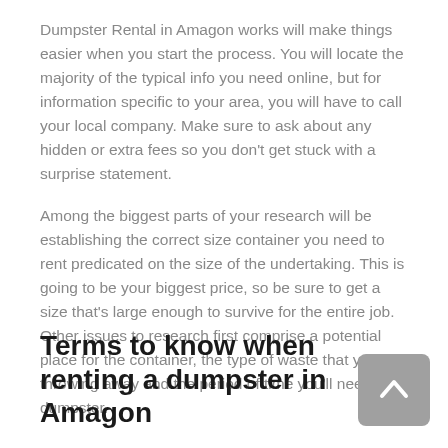Dumpster Rental in Amagon works will make things easier when you start the process. You will locate the majority of the typical info you need online, but for information specific to your area, you will have to call your local company. Make sure to ask about any hidden or extra fees so you don't get stuck with a surprise statement.
Among the biggest parts of your research will be establishing the correct size container you need to rent predicated on the size of the undertaking. This is going to be your biggest price, so be sure to get a size that's large enough to survive for the entire job. Other issues to research first comprise a potential place for the container, the type of waste that you're throwing away and the period of time you'll need the dumpster.
Terms to know when renting a dumpster in Amagon